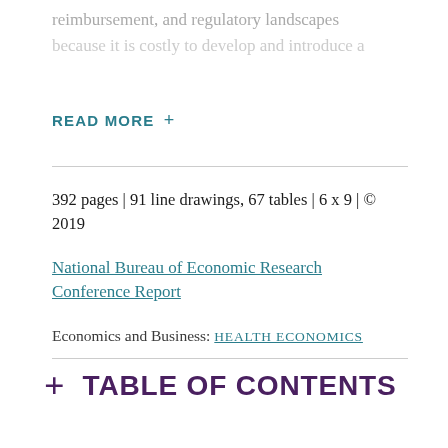reimbursement, and regulatory landscapes
because it is costly to develop and introduce a
READ MORE +
392 pages | 91 line drawings, 67 tables | 6 x 9 | © 2019
National Bureau of Economic Research Conference Report
Economics and Business: HEALTH ECONOMICS
+ TABLE OF CONTENTS